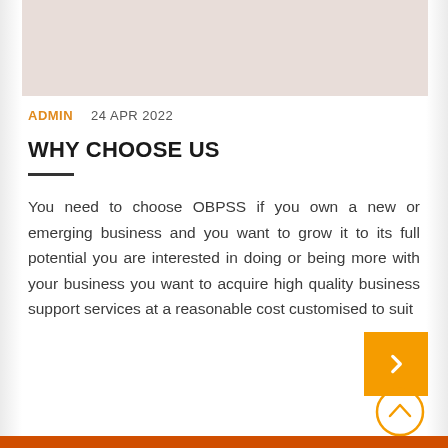[Figure (photo): Top image placeholder area with light pinkish-beige background]
ADMIN   24 APR 2022
WHY CHOOSE US
You need to choose OBPSS if you own a new or emerging business and you want to grow it to its full potential you are interested in doing or being more with your business you want to acquire high quality business support services at a reasonable cost customised to suit